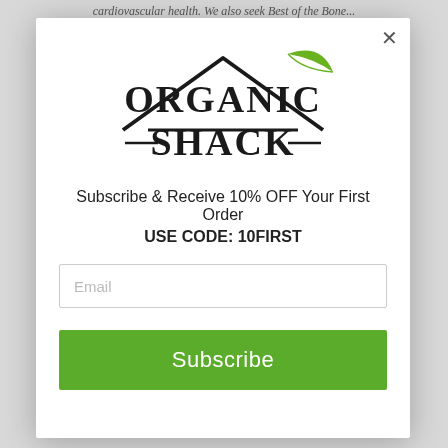cardiovascular health. We also seek Best of the Bone...
[Figure (logo): Organic Shack logo: rooftop/house outline with a green leaf, bold text reading ORGANIC SHACK with decorative dashes]
Subscribe & Receive 10% OFF Your First Order
USE CODE: 10FIRST
Email
Subscribe
improvement in skin health/.